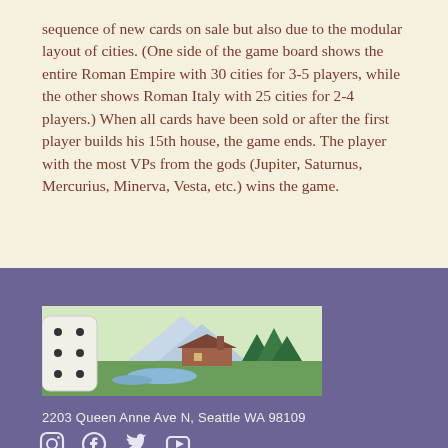sequence of new cards on sale but also due to the modular layout of cities. (One side of the game board shows the entire Roman Empire with 30 cities for 3-5 players, while the other shows Roman Italy with 25 cities for 2-4 players.) When all cards have been sold or after the first player builds his 15th house, the game ends. The player with the most VPs from the gods (Jupiter, Saturnus, Mercurius, Minerva, Vesta, etc.) wins the game.
[Figure (illustration): Store banner image showing a scenic landscape with mountains, trees, a log cabin, and a stream, with a dice on the left side.]
2203 Queen Anne Ave N, Seattle WA 98109
[Figure (logo): Social media icons: Instagram, Facebook, Twitter, YouTube]